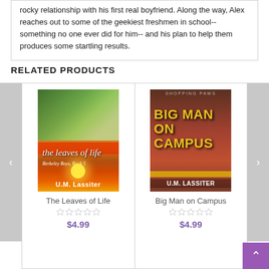rocky relationship with his first real boyfriend. Along the way, Alex reaches out to some of the geekiest freshmen in school-- something no one ever did for him-- and his plan to help them produces some startling results.
RELATED PRODUCTS
[Figure (illustration): Book cover for 'The Leaves of Life' by U.M. Lassiter, Berkeley Boys Book 5. Shows two people embracing near water with a sunset landscape below on an orange gradient background.]
The Leaves of Life
$4.99
[Figure (illustration): Book cover for 'Big Man on Campus' by U.M. Lassiter. Shows a muscular man with arms crossed in front of a building, with bold yellow title text.]
Big Man on Campus
$4.99